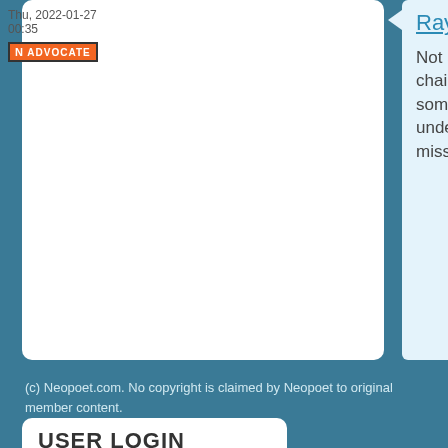Thu, 2022-01-27 00:35
[Figure (logo): N ADVOCATE badge - orange background with white text]
Ray
Not a problem. I use this chain end rhyming sometimes and can understand when folks miss it.
author comment
(c) Neopoet.com. No copyright is claimed by Neopoet to original member content.
USER LOGIN